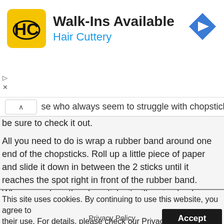[Figure (logo): Hair Cuttery advertisement banner with HC logo, 'Walk-Ins Available' heading, 'Hair Cuttery' subtitle in blue, navigation arrow icon, and ad controls]
se who always seem to struggle with chopsticks, so be sure to check it out.
All you need to do is wrap a rubber band around one end of the chopsticks. Roll up a little piece of paper and slide it down in between the 2 sticks until it reaches the spot right in front of the rubber band. When you close the chopsticks it will spring back open since the rubber band and piece of paper give it resistance.
This site uses cookies. By continuing to use this website, you agree to their use. For details, please check our Privacy Policy.
Privacy Policy